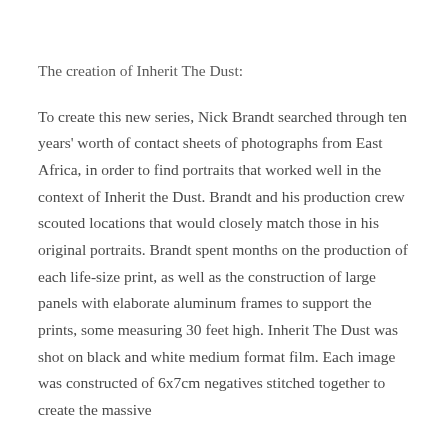The creation of Inherit The Dust:
To create this new series, Nick Brandt searched through ten years' worth of contact sheets of photographs from East Africa, in order to find portraits that worked well in the context of Inherit the Dust. Brandt and his production crew scouted locations that would closely match those in his original portraits. Brandt spent months on the production of each life-size print, as well as the construction of large panels with elaborate aluminum frames to support the prints, some measuring 30 feet high. Inherit The Dust was shot on black and white medium format film. Each image was constructed of 6x7cm negatives stitched together to create the massive